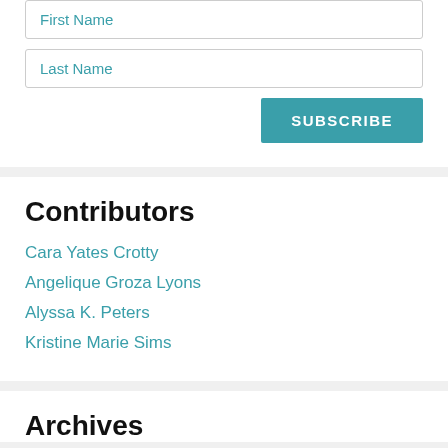First Name
Last Name
SUBSCRIBE
Contributors
Cara Yates Crotty
Angelique Groza Lyons
Alyssa K. Peters
Kristine Marie Sims
Archives